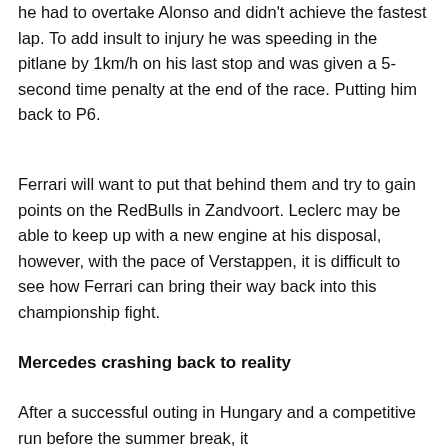he had to overtake Alonso and didn't achieve the fastest lap. To add insult to injury he was speeding in the pitlane by 1km/h on his last stop and was given a 5-second time penalty at the end of the race. Putting him back to P6.
Ferrari will want to put that behind them and try to gain points on the RedBulls in Zandvoort. Leclerc may be able to keep up with a new engine at his disposal, however, with the pace of Verstappen, it is difficult to see how Ferrari can bring their way back into this championship fight.
Mercedes crashing back to reality
After a successful outing in Hungary and a competitive run before the summer break, it